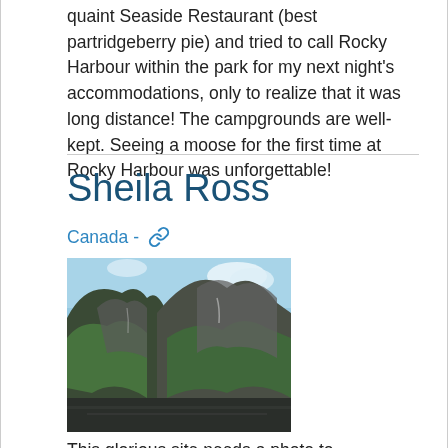quaint Seaside Restaurant (best partridgeberry pie) and tried to call Rocky Harbour within the park for my next night's accommodations, only to realize that it was long distance! The campgrounds are well-kept. Seeing a moose for the first time at Rocky Harbour was unforgettable!
Sheila Ross
Canada - 🔗
[Figure (photo): Mountain peaks with green vegetation and dark rocky cliffs reflected in water below, with a partly cloudy blue sky above.]
This glorious site needs a photo to accompany these